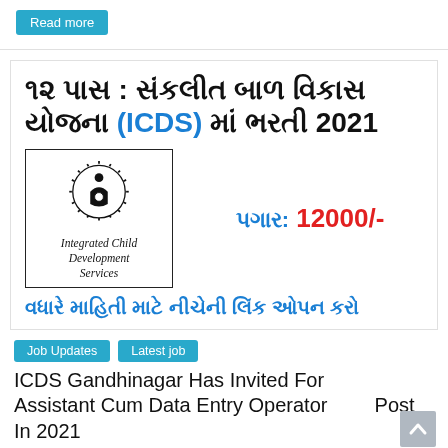Read more
૧૨ પાસ : સંકલીત બાળ વિકાસ યોજના (ICDS) માં ભરતી 2021
[Figure (logo): Integrated Child Development Services (ICDS) logo with circular emblem and text]
પગાર: 12000/-
વધારે માહિતી માટે નીચેની લિંક ઓપન કરો
Job Updates
Latest job
ICDS Gandhinagar Has Invited For Assistant Cum Data Entry Operator Post In 2021